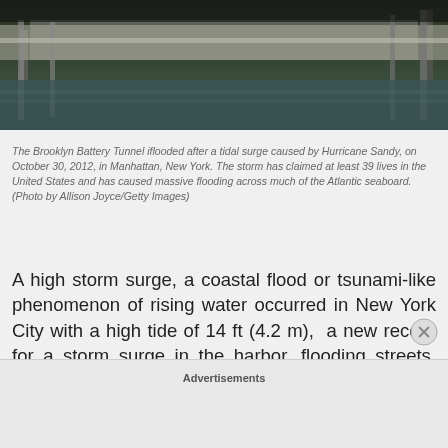[Figure (photo): Flooded Brooklyn Battery Tunnel area showing a concrete wall/barrier with fence and dark water, taken after Hurricane Sandy on October 30, 2012]
The Brooklyn Battery Tunnel iflooded after a tidal surge caused by Hurricane Sandy, on October 30, 2012, in Manhattan, New York. The storm has claimed at least 39 lives in the United States and has caused massive flooding across much of the Atlantic seaboard. (Photo by Allison Joyce/Getty Images)
A high storm surge, a coastal flood or tsunami-like phenomenon of rising water occurred in New York City with a high tide of 14 ft (4.2 m),  a new record for a storm surge in the harbor, flooding streets, tunnels and subway lines and cutting power in and  around the city. The surge tops  the sea wall at The Battery Park in Lower Manhattan and floods parts of the
Advertisements